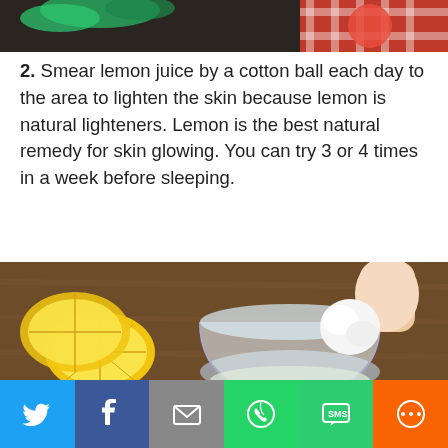[Figure (photo): Top portion of a photo showing herbs, tomatoes and a red checkered cloth on a dark background]
2. Smear lemon juice by a cotton ball each day to the area to lighten the skin because lemon is natural lighteners. Lemon is the best natural remedy for skin glowing. You can try 3 or 4 times in a week before sleeping.
[Figure (photo): Photo of sliced lemons beside a glass bowl of lemon juice with a hand holding a cotton ball being dipped into the juice, on a wooden table background]
[Figure (other): Social sharing bar with Twitter, Facebook, Email, WhatsApp, SMS, and More buttons]